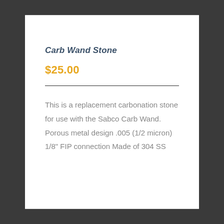Carb Wand Stone
$25.00
This is a replacement carbonation stone for use with the Sabco Carb Wand. Porous metal design .005 (1/2 micron) 1/8" FIP connection Made of 304 SS